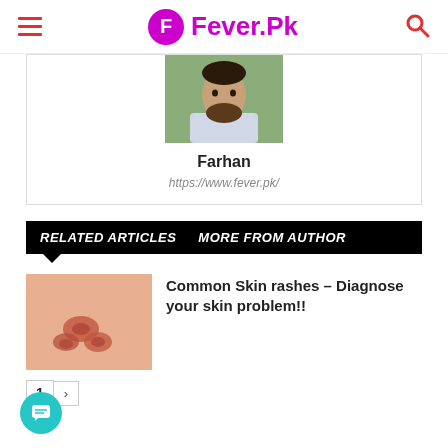Fever.Pk
[Figure (photo): Author profile photo of Farhan, a man with beard]
Farhan
https://www.fever.pk/
RELATED ARTICLES   MORE FROM AUTHOR
[Figure (photo): Close-up photo of skin rashes on a person's skin]
Common Skin rashes – Diagnose your skin problem!!
1